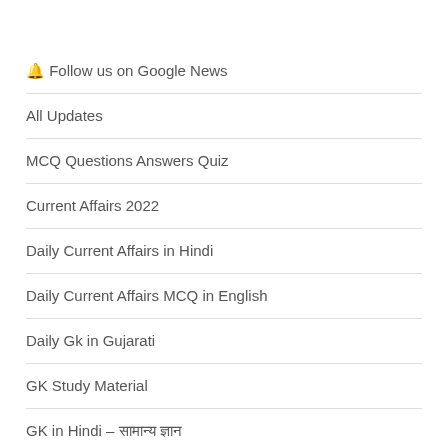🔔 Follow us on Google News
All Updates
MCQ Questions Answers Quiz
Current Affairs 2022
Daily Current Affairs in Hindi
Daily Current Affairs MCQ in English
Daily Gk in Gujarati
GK Study Material
GK in Hindi – सामान्य ज्ञान
JEE NEET Material
Class 10